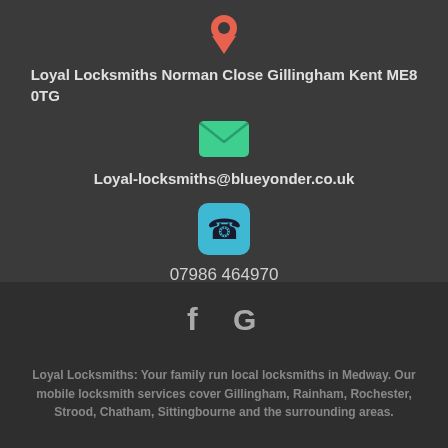[Figure (illustration): Red/salmon map pin / location marker icon]
Loyal Locksmiths Norman Close Gillingham Kent ME8 0TG
[Figure (illustration): Green envelope / email icon]
Loyal-locksmiths@blueyonder.co.uk
[Figure (illustration): Cyan/blue rounded square phone icon]
07986 464970
[Figure (illustration): Facebook 'f' and Google 'G' social media icons]
Loyal Locksmiths: Your family run local locksmiths in Medway. Our mobile locksmith services cover Gillingham, Rainham, Rochester, Strood, Chatham, Sittingbourne and the surrounding areas.